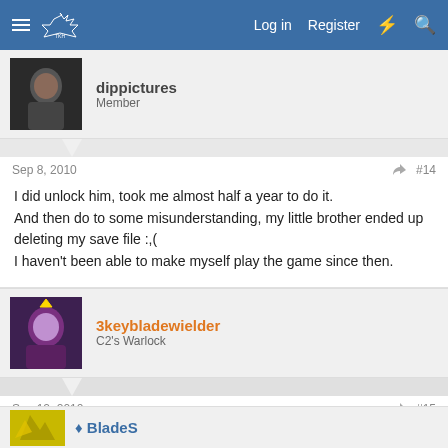Log in  Register
dippictures
Member
Sep 8, 2010  #14
I did unlock him, took me almost half a year to do it.
And then do to some misunderstanding, my little brother ended up deleting my save file :,(
I haven't been able to make myself play the game since then.
3keybladewielder
C2's Warlock
Sep 12, 2010  #15
sora is a fail >.< his limit sucks and to me pretty much his entire moveset is poopy